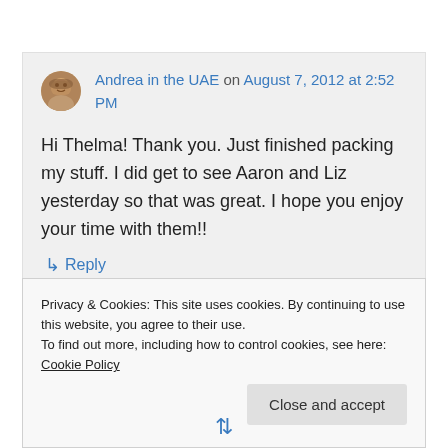Andrea in the UAE on August 7, 2012 at 2:52 PM
Hi Thelma! Thank you. Just finished packing my stuff. I did get to see Aaron and Liz yesterday so that was great. I hope you enjoy your time with them!!
↳ Reply
Privacy & Cookies: This site uses cookies. By continuing to use this website, you agree to their use.
To find out more, including how to control cookies, see here: Cookie Policy
Close and accept